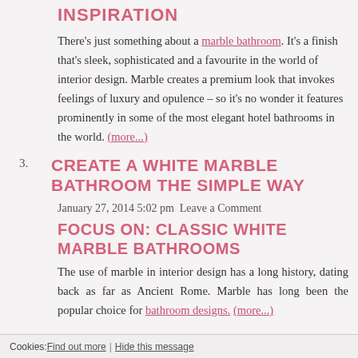INSPIRATION
There's just something about a marble bathroom. It's a finish that's sleek, sophisticated and a favourite in the world of interior design. Marble creates a premium look that invokes feelings of luxury and opulence – so it's no wonder it features prominently in some of the most elegant hotel bathrooms in the world. (more...)
3. CREATE A WHITE MARBLE BATHROOM THE SIMPLE WAY
January 27, 2014 5:02 pm Leave a Comment
FOCUS ON: CLASSIC WHITE MARBLE BATHROOMS
The use of marble in interior design has a long history, dating back as far as Ancient Rome. Marble has long been the popular choice for bathroom designs. (more...)
Cookies: Find out more | Hide this message